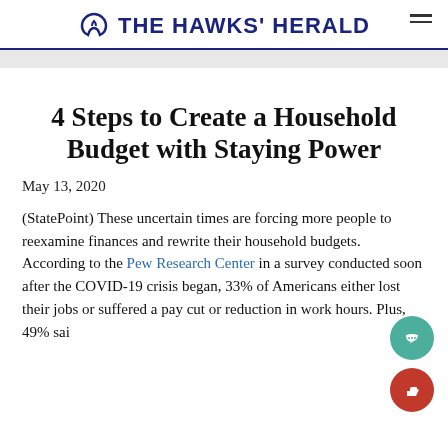THE HAWKS' HERALD
4 Steps to Create a Household Budget with Staying Power
May 13, 2020
(StatePoint) These uncertain times are forcing more people to reexamine finances and rewrite their household budgets. According to the Pew Research Center in a survey conducted soon after the COVID-19 crisis began, 33% of Americans either lost their jobs or suffered a pay cut or reduction in work hours. Plus, 49% said they…